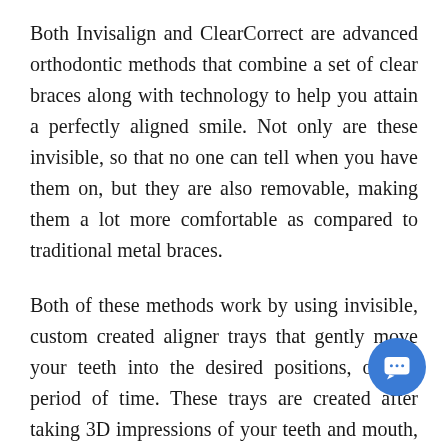Both Invisalign and ClearCorrect are advanced orthodontic methods that combine a set of clear braces along with technology to help you attain a perfectly aligned smile. Not only are these invisible, so that no one can tell when you have them on, but they are also removable, making them a lot more comfortable as compared to traditional metal braces.
Both of these methods work by using invisible, custom created aligner trays that gently move your teeth into the desired positions, over a period of time. These trays are created after taking 3D impressions of your teeth and mouth, and a treatment plan is then designed as per the achievable results agreed upon at the start of your